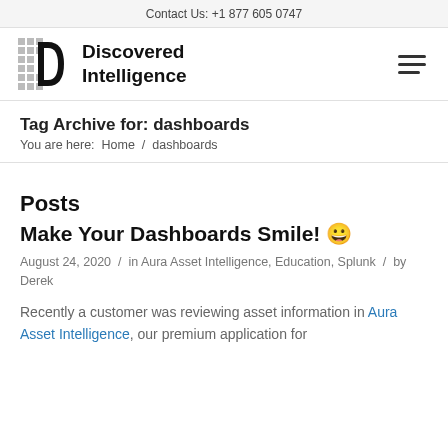Contact Us: +1 877 605 0747
[Figure (logo): Discovered Intelligence logo with pixelated D icon and bold text]
Tag Archive for: dashboards
You are here:  Home  /  dashboards
Posts
Make Your Dashboards Smile! 😀
August 24, 2020  /  in Aura Asset Intelligence, Education, Splunk  /  by Derek
Recently a customer was reviewing asset information in Aura Asset Intelligence, our premium application for